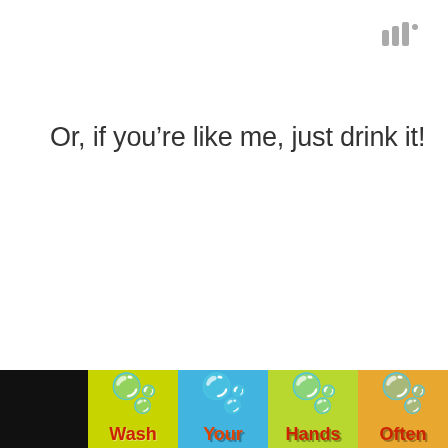|||°
Or, if you're like me, just drink it!
[Figure (advertisement): Wash Your Hands Often advertisement banner with hand-washing emoji icons in yellow, blue, green and orange panels with text labels. Black panels on sides. Red close button with X.]